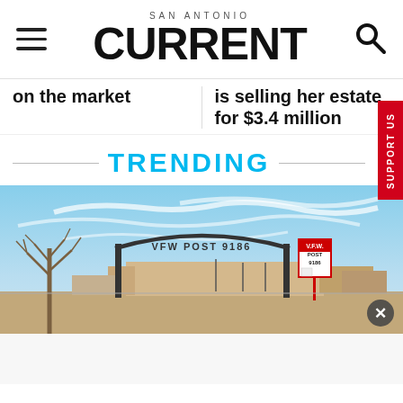SAN ANTONIO CURRENT
on the market
is selling her estate for $3.4 million
TRENDING
[Figure (photo): VFW Post 9186 archway entrance sign with a red VFW Post billboard sign on the right, bare winter trees on the left, blue sky with wispy clouds in the background.]